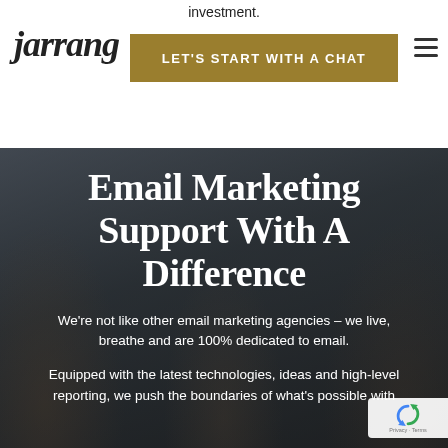investment.
jarrang
LET'S START WITH A CHAT
[Figure (photo): Three men standing outdoors, used as a dark hero background image behind overlaid white text]
Email Marketing Support With A Difference
We're not like other email marketing agencies – we live, breathe and are 100% dedicated to email.
Equipped with the latest technologies, ideas and high-level reporting, we push the boundaries of what's possible with